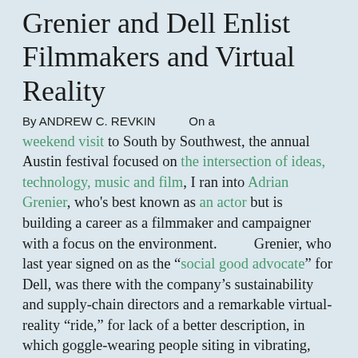Grenier and Dell Enlist Filmmakers and Virtual Reality
By ANDREW C. REVKIN        On a weekend visit to South by Southwest, the annual Austin festival focused on the intersection of ideas, technology, music and film, I ran into Adrian Grenier, who's best known as an actor but is building a career as a filmmaker and campaigner with a focus on the environment.          Grenier, who last year signed on as the "social good advocate" for Dell, was there with the company's sustainability and supply-chain directors and a remarkable virtual-reality "ride," for lack of a better description, in which goggle-wearing people siting in vibrating, hissing chairs plunge deep beneath the sea. They are greeted by